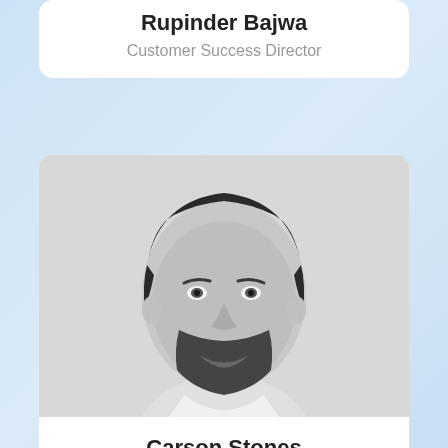Rupinder Bajwa
Customer Success Director
[Figure (photo): Black and white professional headshot of Carson Stones, a man with short dark hair and a beard, smiling warmly, wearing a light-colored shirt.]
Carson Stones
Customer Success Director